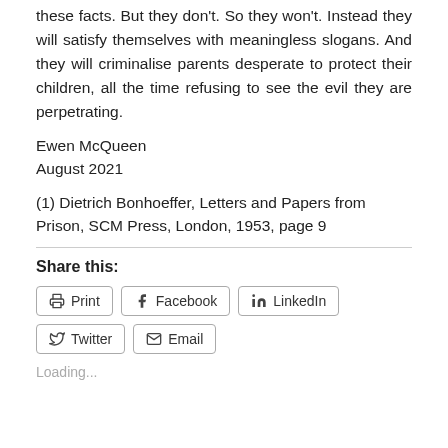these facts. But they don't. So they won't. Instead they will satisfy themselves with meaningless slogans. And they will criminalise parents desperate to protect their children, all the time refusing to see the evil they are perpetrating.
Ewen McQueen
August 2021
(1) Dietrich Bonhoeffer, Letters and Papers from Prison, SCM Press, London, 1953, page 9
Share this:
Print  Facebook  LinkedIn  Twitter  Email
Loading...